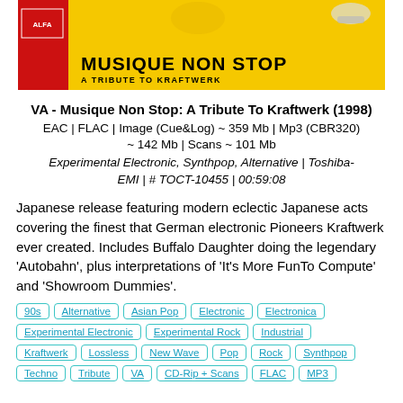[Figure (illustration): Yellow and red banner image for 'Musique Non Stop: A Tribute to Kraftwerk' album cover]
VA - Musique Non Stop: A Tribute To Kraftwerk (1998)
EAC | FLAC | Image (Cue&Log) ~ 359 Mb | Mp3 (CBR320) ~ 142 Mb | Scans ~ 101 Mb
Experimental Electronic, Synthpop, Alternative | Toshiba-EMI | # TOCT-10455 | 00:59:08
Japanese release featuring modern eclectic Japanese acts covering the finest that German electronic Pioneers Kraftwerk ever created. Includes Buffalo Daughter doing the legendary 'Autobahn', plus interpretations of 'It's More FunTo Compute' and 'Showroom Dummies'.
90s
Alternative
Asian Pop
Electronic
Electronica
Experimental Electronic
Experimental Rock
Industrial
Kraftwerk
Lossless
New Wave
Pop
Rock
Synthpop
Techno
Tribute
VA
CD-Rip + Scans
FLAC
MP3